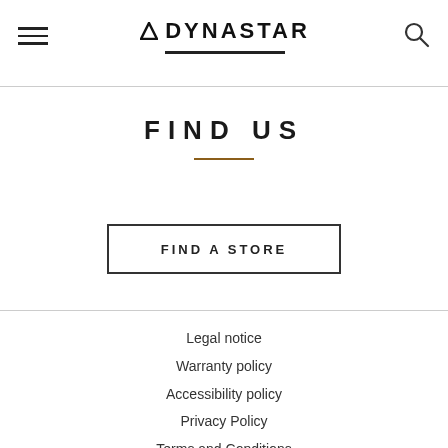DYNASTAR
FIND US
FIND A STORE
Legal notice
Warranty policy
Accessibility policy
Privacy Policy
Terms and Conditions
Store locator